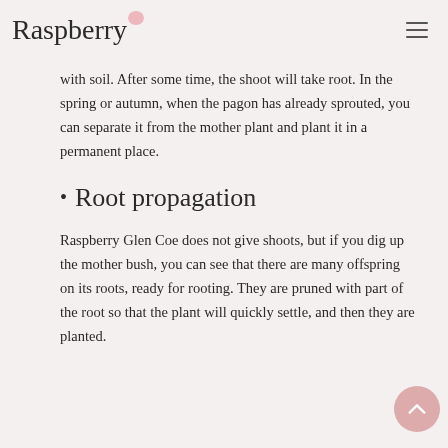Raspberry
with soil. After some time, the shoot will take root. In the spring or autumn, when the pagon has already sprouted, you can separate it from the mother plant and plant it in a permanent place.
Root propagation
Raspberry Glen Coe does not give shoots, but if you dig up the mother bush, you can see that there are many offspring on its roots, ready for rooting. They are pruned with part of the root so that the plant will quickly settle, and then they are planted.